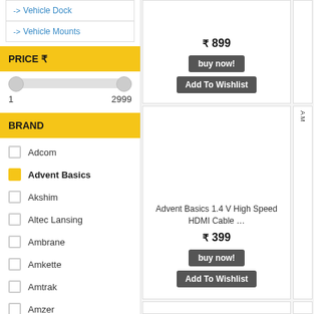-> Vehicle Dock
-> Vehicle Mounts
PRICE ₹
1  2999
BRAND
Adcom
Advent Basics (selected)
Akshim
Altec Lansing
Ambrane
Amkette
Amtrak
Amzer
₹ 899
buy now!
Add To Wishlist
Advent Basics 1.4 V High Speed HDMI Cable …
₹ 399
buy now!
Add To Wishlist